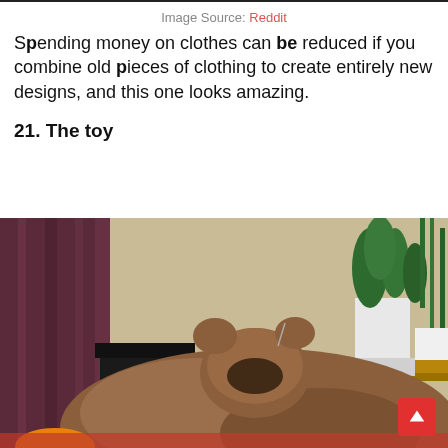Image Source: Reddit
Spending money on clothes can be reduced if you combine old pieces of clothing to create entirely new designs, and this one looks amazing.
21. The toy
[Figure (photo): Photo of a stuffed animal toy (bear-like plush) lying on what appears to be a surface, with purple curtains and green houseplants visible in the background. A red scroll-to-top button is overlaid in the bottom right corner.]